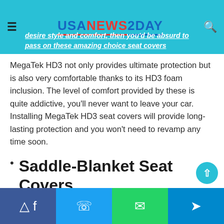USANEWS2DAY
desire style and comfort, then you'd be absurd to pass on these amazing choice seat covers
MegaTek HD3 not only provides ultimate protection but is also very comfortable thanks to its HD3 foam inclusion. The level of comfort provided by these is quite addictive, you'll never want to leave your car. Installing MegaTek HD3 seat covers will provide long-lasting protection and you won't need to revamp any time soon.
Saddle-Blanket Seat Covers
The Saddle-Blanket is made from polyester and nylon, interwoven into a superior heavyweight fabric that greatly
Facebook  Twitter  WhatsApp  Telegram